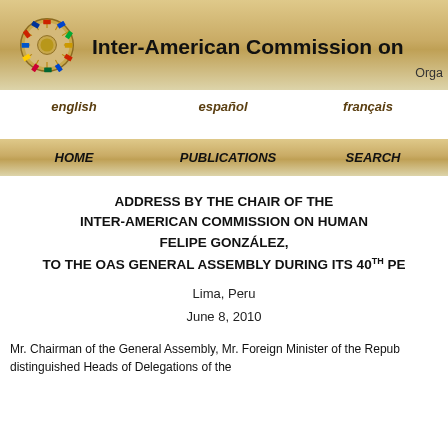[Figure (logo): OAS/Inter-American Commission circular logo with flags]
Inter-American Commission on
Orga
english   español   français
HOME   PUBLICATIONS   SEARCH
ADDRESS BY THE CHAIR OF THE INTER-AMERICAN COMMISSION ON HUMAN RIGHTS, FELIPE GONZÁLEZ, TO THE OAS GENERAL ASSEMBLY DURING ITS 40TH PERIOD
Lima, Peru
June 8, 2010
Mr. Chairman of the General Assembly, Mr. Foreign Minister of the Republic of Peru, distinguished Heads of Delegations of the